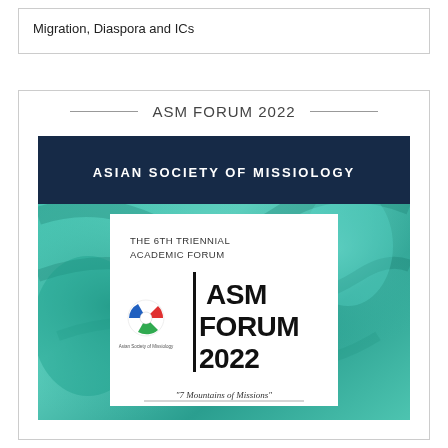Migration, Diaspora and ICs
ASM FORUM 2022
[Figure (illustration): ASM Forum 2022 promotional poster for the 6th Triennial Academic Forum of the Asian Society of Missiology. Features a teal/green marbled background, dark navy header with 'ASIAN SOCIETY OF MISSIOLOGY', white center panel with 'THE 6TH TRIENNIAL ACADEMIC FORUM', large bold text 'ASM FORUM 2022' with a vertical bar divider, the ASM logo (circular with red, blue, green segments), and italic quote '7 Mountains of Missions' at the bottom.]